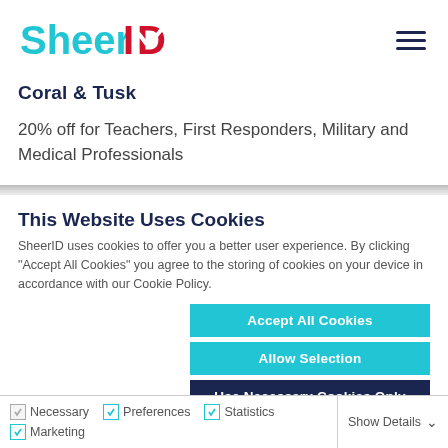[Figure (logo): SheerID logo with teal 'Sheer' text and red 'ID' with check mark]
Coral & Tusk
20% off for Teachers, First Responders, Military and Medical Professionals
This Website Uses Cookies
SheerID uses cookies to offer you a better user experience. By clicking "Accept All Cookies" you agree to the storing of cookies on your device in accordance with our Cookie Policy.
Accept All Cookies
Allow Selection
Use Necessary Cookies Only
Necessary | Preferences | Statistics | Marketing | Show Details